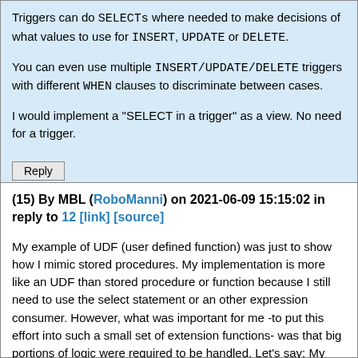Triggers can do SELECTs where needed to make decisions of what values to use for INSERT, UPDATE or DELETE.

You can even use multiple INSERT/UPDATE/DELETE triggers with different WHEN clauses to discriminate between cases.

I would implement a "SELECT in a trigger" as a view. No need for a trigger.
Reply
(15) By MBL (RoboManni) on 2021-06-09 15:15:02 in reply to 12 [link] [source]
My example of UDF (user defined function) was just to show how I mimic stored procedures. My implementation is more like an UDF than stored procedure or function because I still need to use the select statement or an other expression consumer. However, what was important for me -to put this effort into such a small set of extension functions- was that big portions of logic were required to be handled. Let's say: My application get data from various sources (text formatted and blobs), inserted into one table and has to schedule different actions based on them. My application has to run uninterrupted for years. By putting the